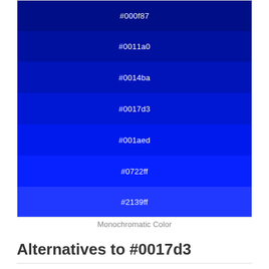[Figure (other): Monochromatic color swatches showing shades of blue: #000f87, #0011a0, #0014ba, #0017d3, #001aed, #0722ff, #2139ff]
Monochromatic Color
Alternatives to #0017d3